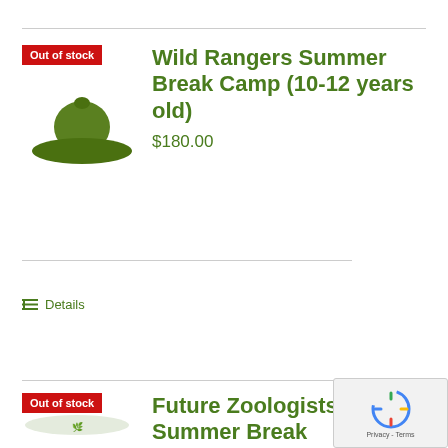[Figure (logo): Wild Rangers camp logo: olive green hat/ranger icon with wide brim, with 'Out of stock' red badge overlay]
Wild Rangers Summer Break Camp (10-12 years old)
$180.00
Details
[Figure (logo): Future Zoologists camp logo: circular green animal/nature design, with 'Out of stock' red badge overlay]
Future Zoologists Summer Break